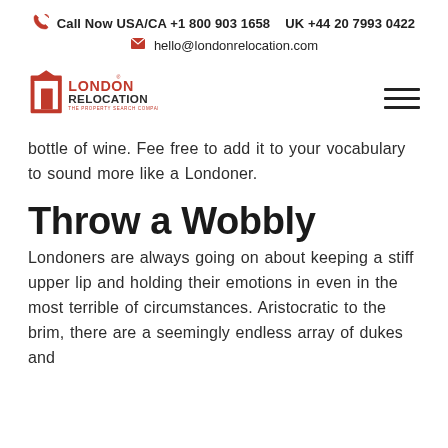Call Now USA/CA +1 800 903 1658  UK +44 20 7993 0422
hello@londonrelocation.com
[Figure (logo): London Relocation logo — red door icon with text LONDON RELOCATION THE PROPERTY SEARCH COMPANY]
bottle of wine. Fee free to add it to your vocabulary to sound more like a Londoner.
Throw a Wobbly
Londoners are always going on about keeping a stiff upper lip and holding their emotions in even in the most terrible of circumstances. Aristocratic to the brim, there are a seemingly endless array of dukes and